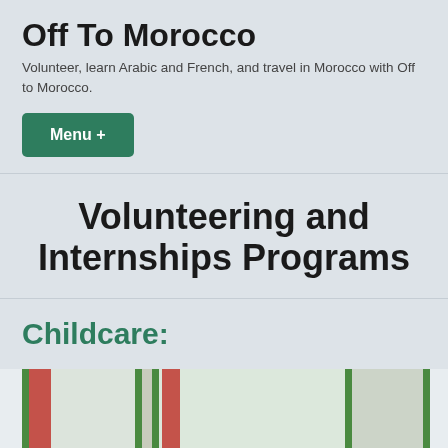Off To Morocco
Volunteer, learn Arabic and French, and travel in Morocco with Off to Morocco.
Menu +
Volunteering and Internships Programs
Childcare:
[Figure (photo): A child leaning over a table or desk in a bright classroom with large windows and green trim and orange/red curtains]